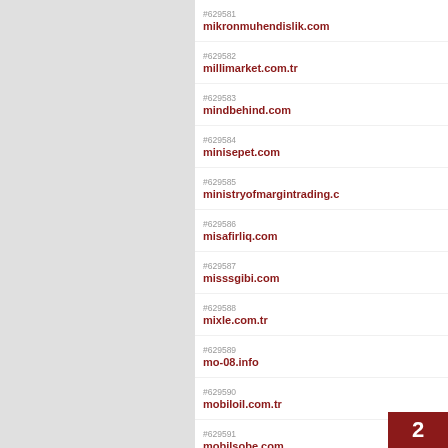#629581 mikronmuhendislik.com
#629582 millimarket.com.tr
#629583 mindbehind.com
#629584 minisepet.com
#629585 ministryofmargintrading.c
#629586 misafirliq.com
#629587 misssgibi.com
#629588 mixle.com.tr
#629589 mo-08.info
#629590 mobiloil.com.tr
#629591 mobilsobe.com
#629592 mobiltel.com.tr
2